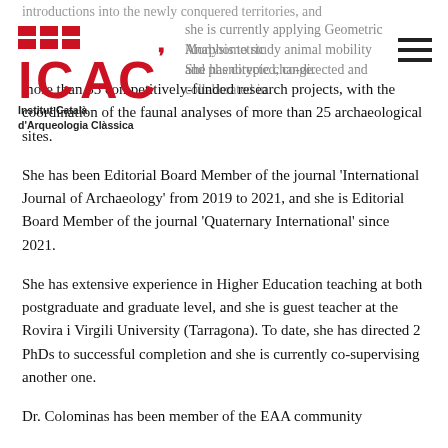[Figure (logo): ICAC logo - Institut Català d'Arqueologia Clàssica with red brick pattern icon]
introductions into the newly conquered territories, and she is currently applying Geometric Morphometric Analysis to study animal mobility and phenotypic change. She has directed, co-directed and collaborated in more than 35 competitively-funded research projects, with the coordination of the faunal analyses of more than 25 archaeological sites.
She has been Editorial Board Member of the journal 'International Journal of Archaeology' from 2019 to 2021, and she is Editorial Board Member of the journal 'Quaternary International' since 2021.
She has extensive experience in Higher Education teaching at both postgraduate and graduate level, and she is guest teacher at the Rovira i Virgili University (Tarragona). To date, she has directed 2 PhDs to successful completion and she is currently co-supervising another one.
Dr. Colominas has been member of the EAA community